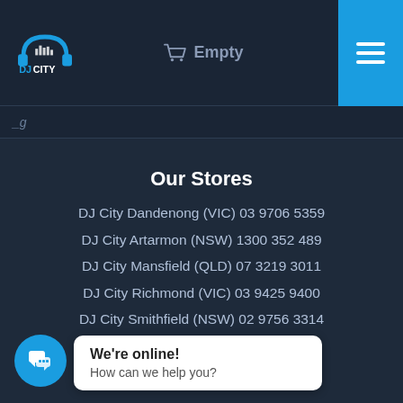[Figure (logo): DJ City logo with headphones icon and blue text]
Empty
Our Stores
DJ City Dandenong (VIC) 03 9706 5359
DJ City Artarmon (NSW) 1300 352 489
DJ City Mansfield (QLD) 07 3219 3011
DJ City Richmond (VIC) 03 9425 9400
DJ City Smithfield (NSW) 02 9756 3314
DJ City Oakleigh (VIC) 03 9568 8805
...9876 9692
We're online! How can we help you?